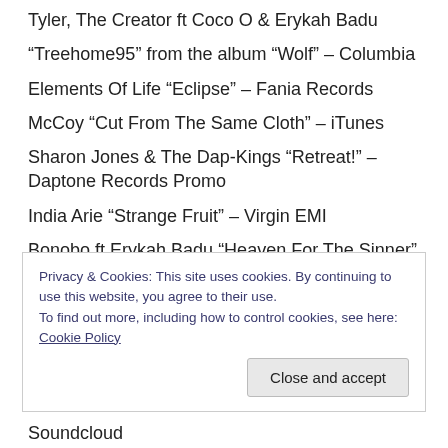Tyler, The Creator ft Coco O & Erykah Badu
“Treehome95” from the album “Wolf” – Columbia
Elements Of Life “Eclipse” – Fania Records
McCoy “Cut From The Same Cloth” – iTunes
Sharon Jones & The Dap-Kings “Retreat!” – Daptone Records Promo
India Arie “Strange Fruit” – Virgin EMI
Bonobo ft Erykah Badu “Heaven For The Sinner” from the album “The North Borders” – Ninja Tune
Verdict Ft Dwele “Choosin” – E1 Music
Ntice... Basin “K... The Faith” from the album... (truncated)
Privacy & Cookies: This site uses cookies. By continuing to use this website, you agree to their use.
To find out more, including how to control cookies, see here: Cookie Policy
Close and accept
Soundcloud